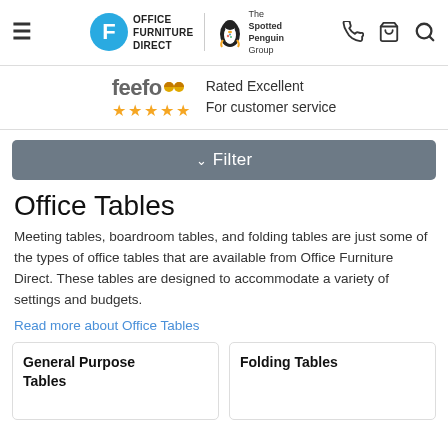Office Furniture Direct — The Spotted Penguin Group — Navigation header with phone, basket, search icons
feefo — Rated Excellent For customer service — 5 stars
Filter
Office Tables
Meeting tables, boardroom tables, and folding tables are just some of the types of office tables that are available from Office Furniture Direct. These tables are designed to accommodate a variety of settings and budgets.
Read more about Office Tables
General Purpose Tables
Folding Tables